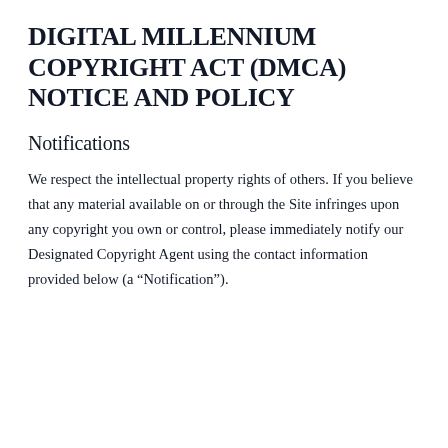DIGITAL MILLENNIUM COPYRIGHT ACT (DMCA) NOTICE AND POLICY
Notifications
We respect the intellectual property rights of others. If you believe that any material available on or through the Site infringes upon any copyright you own or control, please immediately notify our Designated Copyright Agent using the contact information provided below (a “Notification”).
A proper Notification will be sent to th...